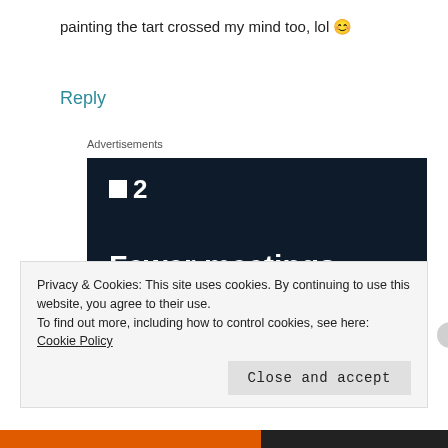painting the tart crossed my mind too, lol 🙂
Reply
Advertisements
[Figure (screenshot): Dark navy advertisement for a project management/productivity app (Plan logo with '■2' branding), showing the tagline 'Fewer meetings, more work.' with a 'Get started for free' button.]
Privacy & Cookies: This site uses cookies. By continuing to use this website, you agree to their use.
To find out more, including how to control cookies, see here: Cookie Policy
Close and accept